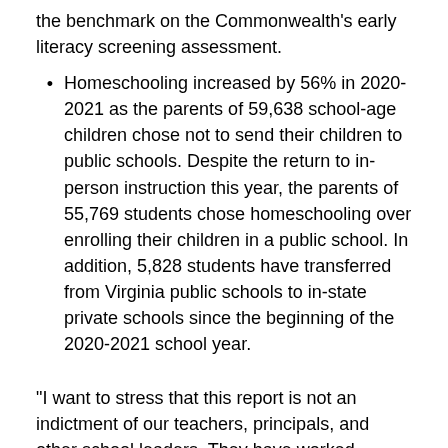the benchmark on the Commonwealth's early literacy screening assessment.
Homeschooling increased by 56% in 2020-2021 as the parents of 59,638 school-age children chose not to send their children to public schools. Despite the return to in-person instruction this year, the parents of 55,769 students chose homeschooling over enrolling their children in a public school. In addition, 5,828 students have transferred from Virginia public schools to in-state private schools since the beginning of the 2020-2021 school year.
“I want to stress that this report is not an indictment of our teachers, principals, and other school leaders. They have worked tirelessly over the last few years under extraordinary conditions and circumstances,” said Superintendent Jillian Balow. “But local decision-making inevitably reflects priorities and policy choices determined at the state level. I am committed to working with Governor Youngkin, the state Board of Education, and the General Assembly to reorder Virginia’s